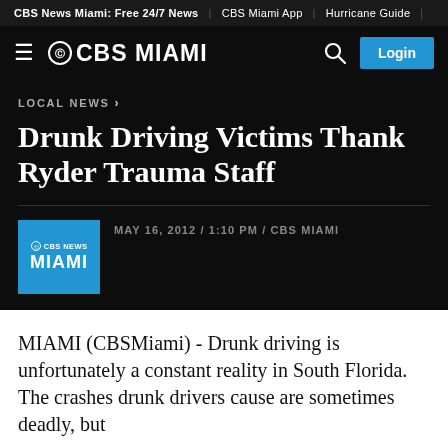CBS News Miami: Free 24/7 News | CBS Miami App | Hurricane Guide
[Figure (logo): CBS Miami navigation bar with hamburger menu, CBS Miami logo, search icon, and Login button]
LOCAL NEWS
Drunk Driving Victims Thank Ryder Trauma Staff
MAY 16, 2012 / 1:10 PM / CBS MIAMI
MIAMI (CBSMiami) - Drunk driving is unfortunately a constant reality in South Florida. The crashes drunk drivers cause are sometimes deadly, but